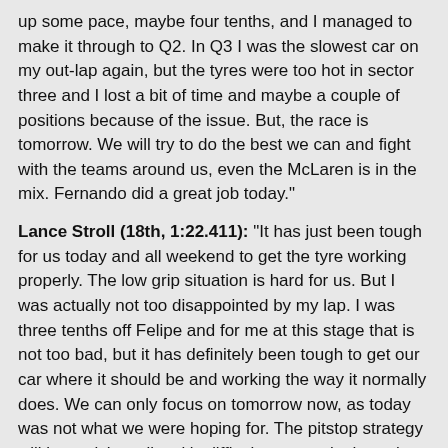up some pace, maybe four tenths, and I managed to make it through to Q2. In Q3 I was the slowest car on my out-lap again, but the tyres were too hot in sector three and I lost a bit of time and maybe a couple of positions because of the issue. But, the race is tomorrow. We will try to do the best we can and fight with the teams around us, even the McLaren is in the mix. Fernando did a great job today."
Lance Stroll (18th, 1:22.411): "It has just been tough for us today and all weekend to get the tyre working properly. The low grip situation is hard for us. But I was actually not too disappointed by my lap. I was three tenths off Felipe and for me at this stage that is not too bad, but it has definitely been tough to get our car where it should be and working the way it normally does. We can only focus on tomorrow now, as today was not what we were hoping for. The pitstop strategy will be a tricky call as it's difficult to overtake here, but we will look into that tonight and see which way we go."
Paddy Lowe, Chief Technical Officer: "It was a tough session and very close across the whole midfield with tenths of a second separating different cars.